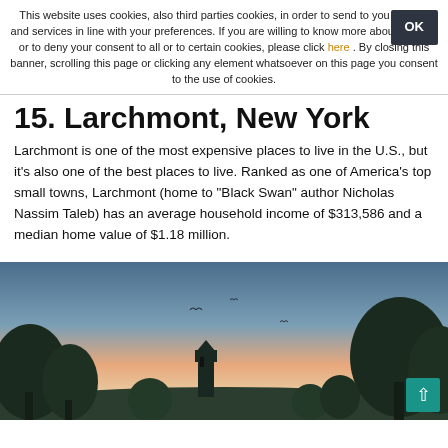This website uses cookies, also third parties cookies, in order to send to you adverts and services in line with your preferences. If you are willing to know more about cookies or to deny your consent to all or to certain cookies, please click here . By closing this banner, scrolling this page or clicking any element whatsoever on this page you consent to the use of cookies.
15. Larchmont, New York
Larchmont is one of the most expensive places to live in the U.S., but it’s also one of the best places to live. Ranked as one of America’s top small towns, Larchmont (home to “Black Swan” author Nicholas Nassim Taleb) has an average household income of $313,586 and a median home value of $1.18 million.
[Figure (photo): Sunset/dusk landscape photo showing silhouetted trees, a tower/clock tower structure, and birds in flight against a pink and blue sky, representing Larchmont, New York.]